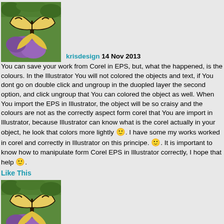[Figure (photo): Butterfly on purple flower photo used as avatar]
krisdesign 14 Nov 2013
You can save your work from Corel in EPS, but, what the happened, is the colours. In the Illustrator You will not colored the objects and text, if You dont go on double click and ungroup in the duopled layer the second option, and click ungroup that You can colored the object as well. When You import the EPS in Illustrator, the object will be so craisy and the colours are not as the correctly aspect form corel that You are import in Illustrator, because Illustrator can know what is the corel actually in your object, he look that colors more lightly 😊. I have some my works worked in corel and correctly in Illustrator on this principe. 😊. It is important to know how to manipulate form Corel EPS in Illustrator correctly, I hope that help 😊.
Like This
[Figure (photo): Butterfly on purple flower photo used as avatar]
krisdesign 14 Nov 2013
Illustrator look on object from Corel as croped parts, its not good, You can see if You go on mouse wit not click !
Like This
[Figure (photo): Butterfly on purple flower photo used as avatar (partial)]